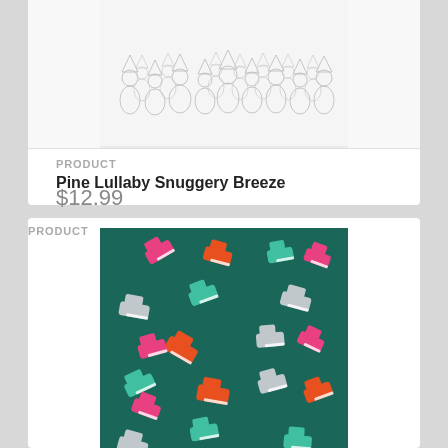[Figure (illustration): Pencil sketch illustration of a crowd of gnome or elf-like figures standing together, line art style on white background]
PRODUCT
Pine Lullaby Snuggery Breeze
$12.99
[Figure (illustration): Pattern of colorful ice skates (pink, orange, teal/mint, and grey/white) scattered on a dark teal background]
PRODUCT